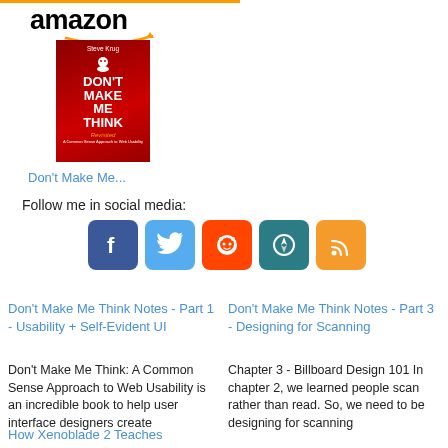[Figure (logo): Amazon logo with orange bar at top and smile underline]
[Figure (photo): Book cover of 'Don't Make Me Think' by Steve Krug, red background with white bold title text]
Don't Make Me...
Follow me in social media:
[Figure (infographic): Social media icons: Facebook (blue), Twitter (light blue), Reddit (orange-red), Feedly/compass (teal), RSS feed (orange)]
Don't Make Me Think Notes - Part 1 - Usability + Self-Evident UI
Don't Make Me Think: A Common Sense Approach to Web Usability is an incredible book to help user interface designers create
Don't Make Me Think Notes - Part 3 - Designing for Scanning
Chapter 3 - Billboard Design 101 In chapter 2, we learned people scan rather than read. So, we need to be designing for scanning
How Xenoblade 2 Teaches